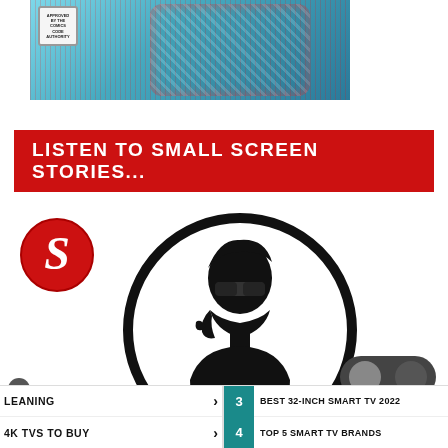[Figure (illustration): Comic-style image with a blue background featuring a superhero-like figure, with a Comics Code Authority badge in top-left corner and chromatic aberration/glitch effects]
LISTEN TO SMALL SCREEN STORIES...
[Figure (logo): Red circular logo with white letter S in stylized cursive form]
[Figure (logo): Black and white circular logo featuring a silhouette of a man with sunglasses in a thinking pose]
[Figure (logo): Dark mode toggle icon - grey pill shape with crescent moon symbol]
LEANING >
4K TVS TO BUY >
3  BEST 32-INCH SMART TV 2022
4  TOP 5 SMART TV BRANDS